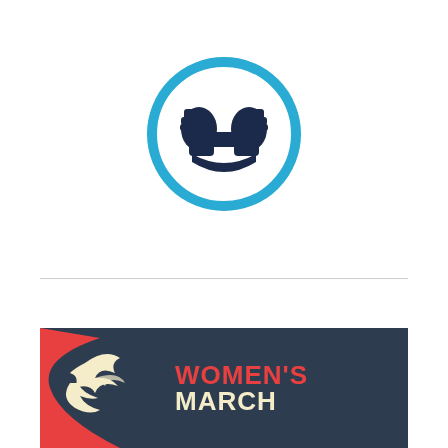[Figure (logo): Circular logo with a blue ring outline and dark navy abstract face/fist symbol inside on white background]
[Figure (logo): Hot pink female/Venus symbol with a pink cat-ear hat on top, representing women's march or feminist movement]
[Figure (logo): Women's March logo banner: dark navy background with a red and cream illustrated bird/fist, and large orange-red text reading WOMEN'S MARCH]